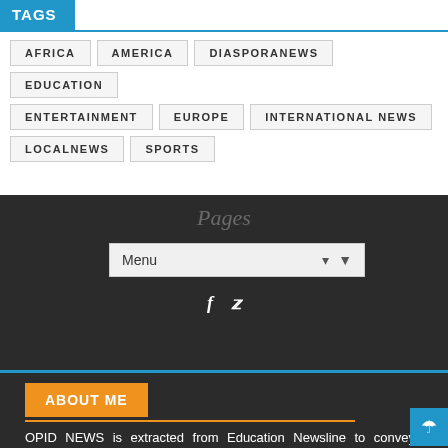TAGS
AFRICA
AMERICA
DIASPORANEWS
EDUCATION
ENTERTAINMENT
EUROPE
INTERNATIONAL NEWS
LOCALNEWS
SPORTS
Pages
Menu
ABOUT ME
OPID NEWS is extracted from Education Newsline to convey information to and fro our people in disspora. Education Newsline is a privately